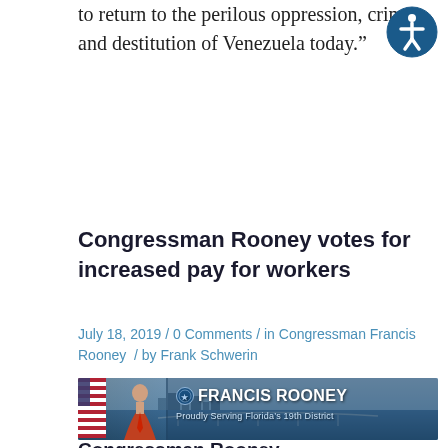to return to the perilous oppression, crime, and destitution of Venezuela today.”
Congressman Rooney votes for increased pay for workers
July 18, 2019 / 0 Comments / in Congressman Francis Rooney / by Frank Schwerin
[Figure (photo): Banner image for Congressman Francis Rooney, Proudly Serving Florida's 19th District, with a photo of the congressman and a aerial view of a Florida coastal city]
Congressman Rooney...